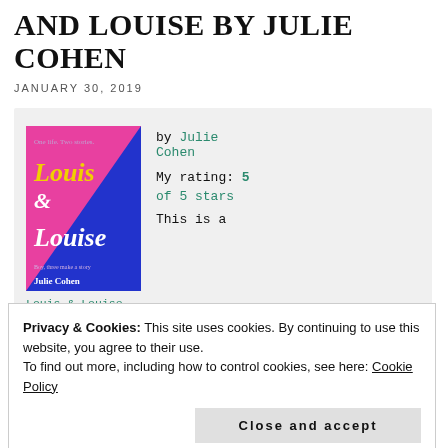AND LOUISE BY JULIE COHEN
JANUARY 30, 2019
[Figure (illustration): Book cover of 'Louis & Louise' by Julie Cohen — bold pink and blue diagonal split design with yellow and white title text]
by Julie Cohen
My rating: 5 of 5 stars
This is a
Louis & Louise
Privacy & Cookies: This site uses cookies. By continuing to use this website, you agree to their use.
To find out more, including how to control cookies, see here: Cookie Policy
Close and accept
A baby is born in 1978. In one version of